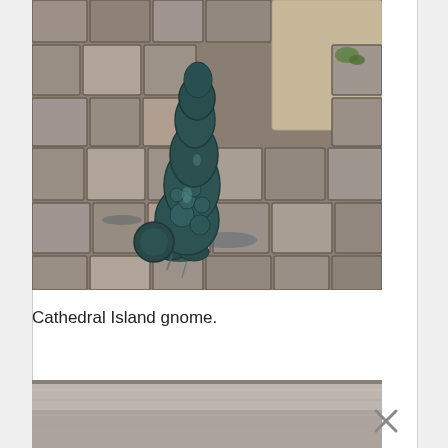[Figure (photo): A bronze gnome statue with patina, sitting on cobblestone pavement near a stone column. The gnome appears small and weathered, with a detailed textured surface.]
Cathedral Island gnome.
[Figure (photo): Partial view of another image below, showing a blurry outdoor scene, partially visible with a close/X button overlaid in the lower right.]